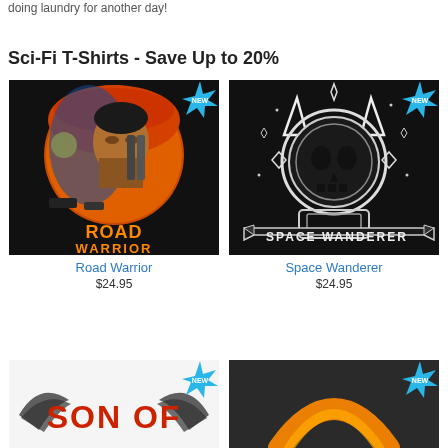doing laundry for another day!
Sci-Fi T-Shirts - Save Up to 20%
[Figure (photo): Road Warrior t-shirt design showing a man's face with a gun against a fiery circular background with cars, text 'ROAD WARRIOR' at bottom, NEW badge in top right]
Road Warrior
$24.95
[Figure (photo): Space Wanderer t-shirt design showing a skull-faced cat astronaut in spacesuit with diamonds, text 'SPACE WANDERER' on banner at bottom, NEW badge in top right]
Space Wanderer
$24.95
[Figure (photo): Son Of t-shirt design partially visible with wings and red text 'SON OF', NEW badge visible]
[Figure (photo): Partially visible t-shirt design with orange arc on dark background, NEW badge visible]